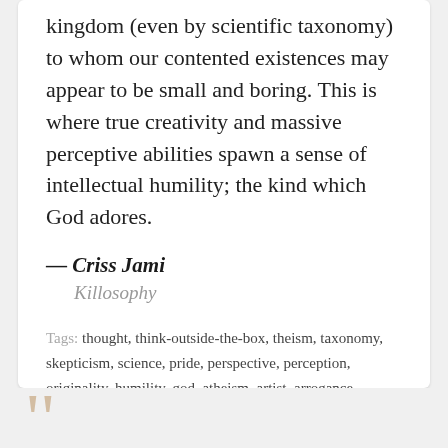kingdom (even by scientific taxonomy) to whom our contented existences may appear to be small and boring. This is where true creativity and massive perceptive abilities spawn a sense of intellectual humility; the kind which God adores.
— Criss Jami
Killosophy
Tags: thought, think-outside-the-box, theism, taxonomy, skepticism, science, pride, perspective, perception, originality, humility, god, atheism, artist, arrogance, apologetics, agnosticism
[Figure (other): Social sharing icons (Twitter bird, Facebook F) and a Like button with heart icon showing (0 Likes)]
[Figure (illustration): Decorative large quotation marks in tan/beige color at bottom of page]